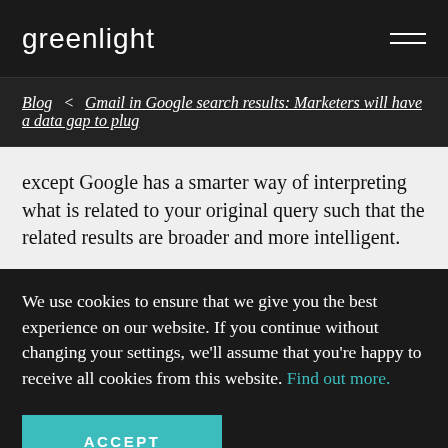greenlight
Blog < Gmail in Google search results: Marketers will have a data gap to plug
except Google has a smarter way of interpreting what is related to your original query such that the related results are broader and more intelligent.
We use cookies to ensure that we give you the best experience on our website. If you continue without changing your settings, we'll assume that you're happy to receive all cookies from this website. Find out more.
ACCEPT